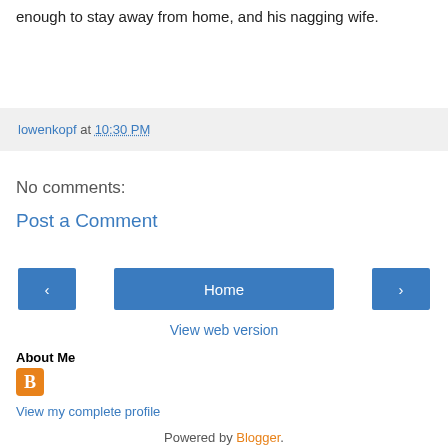enough to stay away from home, and his nagging wife.
lowenkopf at 10:30 PM
No comments:
Post a Comment
Home
View web version
About Me
View my complete profile
Powered by Blogger.